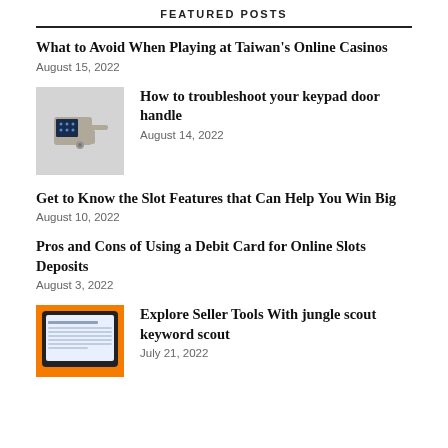FEATURED POSTS
What to Avoid When Playing at Taiwan's Online Casinos
August 15, 2022
[Figure (photo): Keypad door handle with electronic keypad and lever handle]
How to troubleshoot your keypad door handle
August 14, 2022
Get to Know the Slot Features that Can Help You Win Big
August 10, 2022
Pros and Cons of Using a Debit Card for Online Slots Deposits
August 3, 2022
[Figure (screenshot): Tablet showing a spreadsheet or data table interface, on orange background]
Explore Seller Tools With jungle scout keyword scout
July 21, 2022